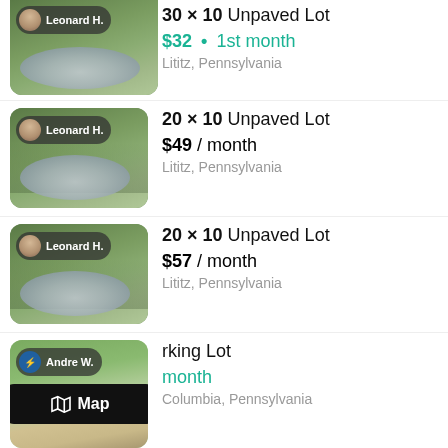[Figure (screenshot): Thumbnail of gravel unpaved lot with Leonard H. owner tag, partially visible at top]
30 × 10 Unpaved Lot
$32 • 1st month
Lititz, Pennsylvania
[Figure (screenshot): Thumbnail of gravel unpaved lot with Leonard H. owner tag]
20 × 10 Unpaved Lot
$49 / month
Lititz, Pennsylvania
[Figure (screenshot): Thumbnail of gravel unpaved lot with Leonard H. owner tag]
20 × 10 Unpaved Lot
$57 / month
Lititz, Pennsylvania
[Figure (screenshot): Thumbnail of driveway/parking lot with Andre W. owner tag and Map overlay button]
Parking Lot
[price]/month
Columbia, Pennsylvania